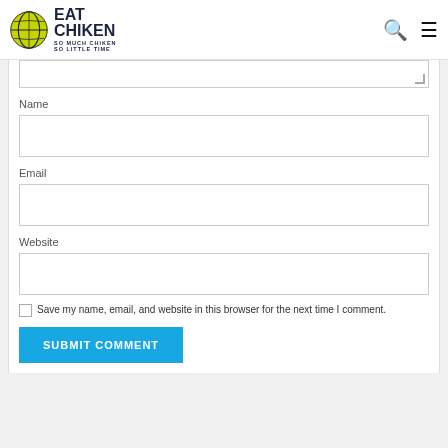EAT CHIKEN — SO MUCH CHIKEN SO LITTLE TIME
[Figure (screenshot): Comment form with Name, Email, Website fields, a checkbox for saving info, and a Submit Comment button]
Name
Email
Website
Save my name, email, and website in this browser for the next time I comment.
SUBMIT COMMENT